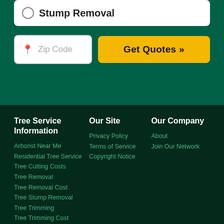Stump Removal
Zip Code
Get Quotes »
Tree Service Information
Arborist Near Me
Residential Tree Service
Tree Cutting Costs
Tree Removal
Tree Removal Cost
Tree Stump Removal
Tree Trimming
Tree Trimming Cost
When to Get a Tree Removed
Our Site
Privacy Policy
Terms of Service
Copyright Notice
Our Company
About
Join Our Network